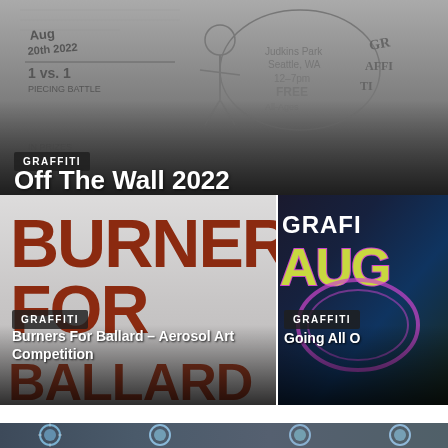[Figure (photo): Black and white graffiti/sketch art background showing figures and graffiti text including 'Judkins Park Seattle WA', '1 vs 1 piecing battle', '206zulu.org', dates and event details]
GRAFFITI
Off The Wall 2022
Admin  -  August 6, 2022
[Figure (photo): Bold red block graffiti lettering spelling BURNERS FOR BALLARD on grey/white background]
GRAFFITI
Burners For Ballard – Aerosol Art Competition
[Figure (photo): Dark background with colorful graffiti text showing GRAFI and AUG in yellow-green letters with pink/magenta outlines]
GRAFFITI
Going All O
[Figure (photo): Mural with blue and white sunflower designs on dark background, partially visible at bottom of page]